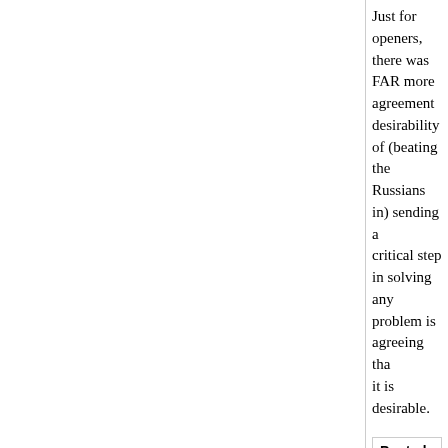Just for openers, there was FAR more agreement on the desirability of (beating the Russians in) sending a man... critical step in solving any problem is agreeing that it is desirable.
Posted by: wj | June 25, 2015 at 06:51 PM
bobbyp:
Throwing money at "complicated problems" won't... 60's and 70's, or defense hawks since like forever... breaks.
I'll grant you the Moonshot, but I think our excess... excess tax breaks have solved very few problems...
If money, alone and unguided, solved problems, I... democracy, equaled only by Afghanistan.
Another great example of large amounts of money... the war of drugs. Instead, the mass of money we'... directly contributes to current problem, imo.
If your point is that money is part of the solution, I... perhaps someone else) made a point earlier that...